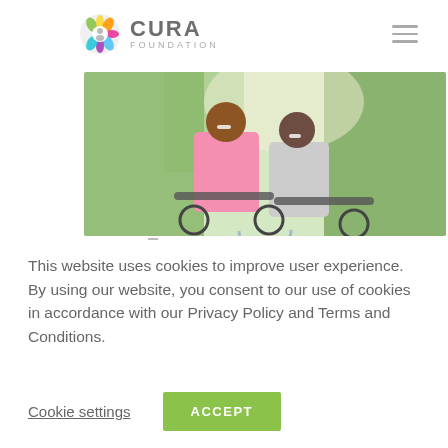CURA FOUNDATION — navigation header with hamburger menu
[Figure (photo): Two elderly people (a man in a pink polo shirt and a woman in a grey cardigan) smiling and riding bicycles together outdoors among green trees. A semi-transparent blue spinner/loading circle is visible overlaid at the bottom center of the image.]
This website uses cookies to improve user experience. By using our website, you consent to our use of cookies in accordance with our Privacy Policy and Terms and Conditions.
Cookie settings   ACCEPT